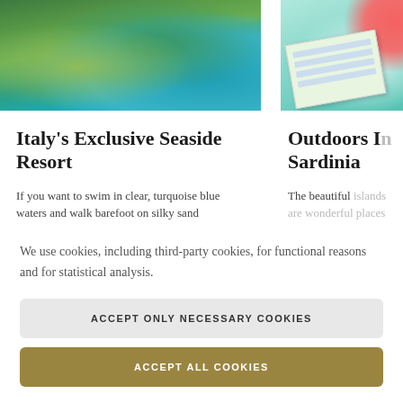[Figure (photo): Aerial view of Italian coastline with turquoise blue waters, green forested cliffs and sandy coastline]
[Figure (photo): Aerial view of Sardinia waters with a notebook/planner and a pink circle partially visible]
Italy’s Exclusive Seaside Resort
Outdoors In Sardinia
If you want to swim in clear, turquoise blue waters and walk barefoot on silky sand
The beautiful islands are wonderful places
We use cookies, including third-party cookies, for functional reasons and for statistical analysis.
ACCEPT ONLY NECESSARY COOKIES
ACCEPT ALL COOKIES